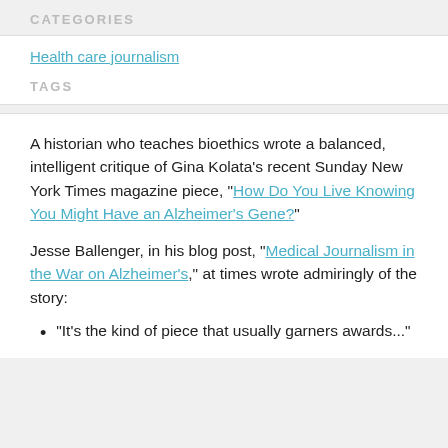CATEGORIES
Health care journalism
TAGS
A historian who teaches bioethics wrote a balanced, intelligent critique of Gina Kolata’s recent Sunday New York Times magazine piece, “How Do You Live Knowing You Might Have an Alzheimer’s Gene?”
Jesse Ballenger, in his blog post, “Medical Journalism in the War on Alzheimer’s,” at times wrote admiringly of the story:
“It’s the kind of piece that usually garners awards...”